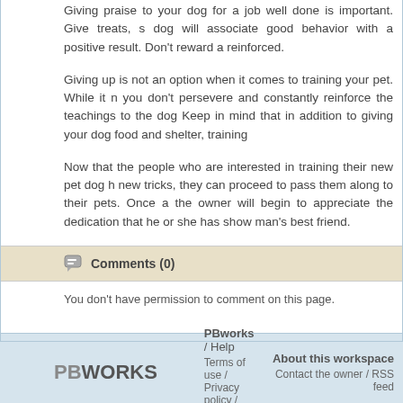Giving praise to your dog for a job well done is important. Give treats, s dog will associate good behavior with a positive result. Don't reward a reinforced.
Giving up is not an option when it comes to training your pet. While it n you don't persevere and constantly reinforce the teachings to the dog Keep in mind that in addition to giving your dog food and shelter, training
Now that the people who are interested in training their new pet dog h new tricks, they can proceed to pass them along to their pets. Once a the owner will begin to appreciate the dedication that he or she has show man's best friend.
Comments (0)
You don't have permission to comment on this page.
PBworks / Help  Terms of use / Privacy policy / GDPR  About this workspace  Contact the owner / RSS feed